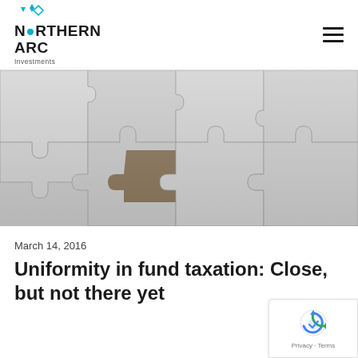NORTHERN ARC Investments
[Figure (photo): Close-up photo of interlocking white jigsaw puzzle pieces with one piece partially lifted, revealing a dark gap underneath.]
March 14, 2016
Uniformity in fund taxation: Close, but not there yet